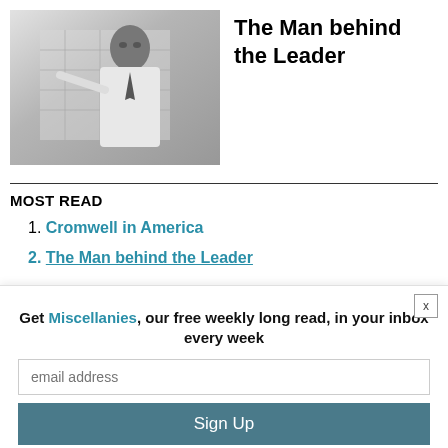[Figure (photo): Black and white photograph of a man in a white shirt and dark tie, pointing at a map or chart on the wall behind him]
The Man behind the Leader
MOST READ
1. Cromwell in America
2. The Man behind the Leader
Get Miscellanies, our free weekly long read, in your inbox every week
email address
Sign Up